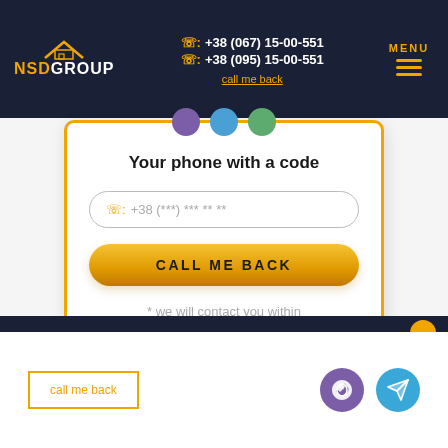NSD GROUP | +38 (067) 15-00-551 | +38 (095) 15-00-551 | call me back | MENU
Your phone with a code
+38 (***) *** ** **
CALL ME BACK
* we will contact you within 20 minutes
call me back